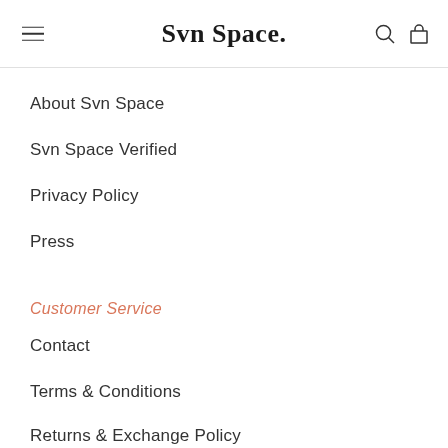Svn Space.
About Svn Space
Svn Space Verified
Privacy Policy
Press
Customer Service
Contact
Terms & Conditions
Returns & Exchange Policy